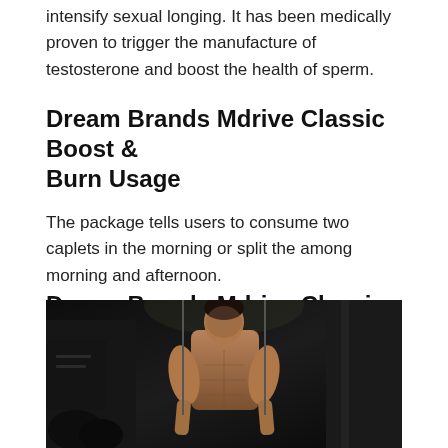intensify sexual longing. It has been medically proven to trigger the manufacture of testosterone and boost the health of sperm.
Dream Brands Mdrive Classic Boost & Burn Usage
The package tells users to consume two caplets in the morning or split the among morning and afternoon.
Dream Brands Mdrive Classic Boost & Burn Credits and Debits
[Figure (photo): A muscular man working out in a dark gym, pulling cables, shirtless, showing athletic physique]